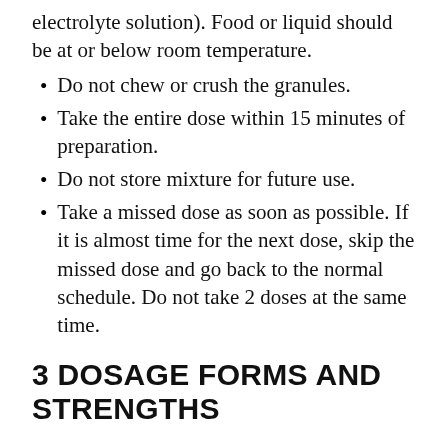electrolyte solution). Food or liquid should be at or below room temperature.
Do not chew or crush the granules.
Take the entire dose within 15 minutes of preparation.
Do not store mixture for future use.
Take a missed dose as soon as possible. If it is almost time for the next dose, skip the missed dose and go back to the normal schedule. Do not take 2 doses at the same time.
3 DOSAGE FORMS AND STRENGTHS
Rabeprazole sodium delayed-release capsules (sprinkle) are provided as: